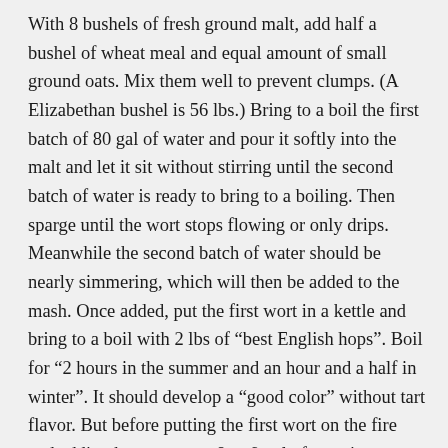With 8 bushels of fresh ground malt, add half a bushel of wheat meal and equal amount of small ground oats. Mix them well to prevent clumps. (A Elizabethan bushel is 56 lbs.) Bring to a boil the first batch of 80 gal of water and pour it softly into the malt and let it sit without stirring until the second batch of water is ready to bring to a boiling. Then sparge until the wort stops flowing or only drips. Meanwhile the second batch of water should be nearly simmering, which will then be added to the mash. Once added, put the first wort in a kettle and bring to a boil with 2 lbs of “best English hops”. Boil for “2 hours in the summer and an hour and a half in winter”. It should develop a “good color” without tart flavor. But before putting the first wort on the fire and adding hops, reserve 8 or 9 gal of wort in a tightly sealed vat, where it will turn yellow, which is then called “brackwoort” or “charwoort”. When added to the beer, it gives it an amber or fine gold color. After the second wort has been sparged and the first wort set to cool, put the second wort in the